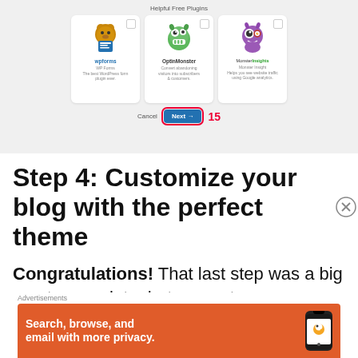[Figure (screenshot): WordPress setup wizard showing 'Helpful Free Plugins' step with three plugin cards (WPForms, OptinMonster, MonsterInsights), a Cancel link, a highlighted Next button with red outline, and the number 15 in red]
Step 4: Customize your blog with the perfect theme
Congratulations! That last step was a big one to complete, but you got
Advertisements
[Figure (screenshot): DuckDuckGo advertisement banner with orange background showing 'Search, browse, and email with more privacy.' text with a phone mockup]